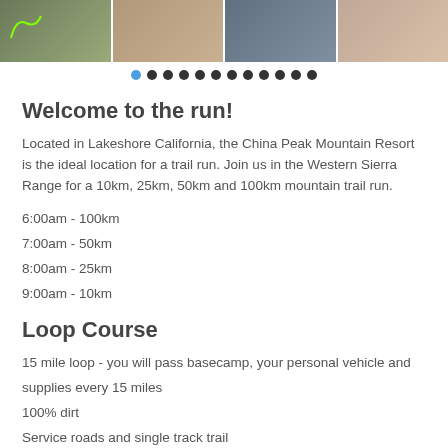[Figure (photo): Image strip showing four trail running photos: a map/route overlay on terrain, a runner on a trail, a runner with a race bib, and runners' legs/feet on a trail.]
[Figure (other): Carousel navigation dots: 12 dots total, first dot is blue (active), rest are dark/black.]
Welcome to the run!
Located in Lakeshore California, the China Peak Mountain Resort is the ideal location for a trail run. Join us in the Western Sierra Range for a 10km, 25km, 50km and 100km mountain trail run.
6:00am - 100km
7:00am - 50km
8:00am - 25km
9:00am - 10km
Loop Course
15 mile loop - you will pass basecamp, your personal vehicle and supplies every 15 miles
100% dirt
Service roads and single track trail
Aid stations every 5 miles